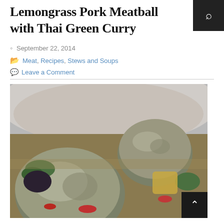Lemongrass Pork Meatball with Thai Green Curry
September 22, 2014
Meat, Recipes, Stews and Soups
Leave a Comment
[Figure (photo): Close-up photo of lemongrass pork meatballs in Thai green curry sauce, served in a light-colored bowl, garnished with green herbs and red peppers]